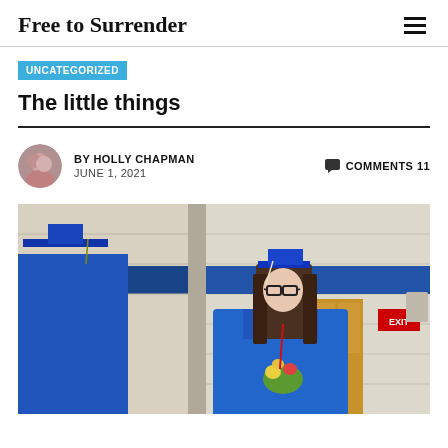Free to Surrender
UNCATEGORIZED
The little things
BY HOLLY CHAPMAN   JUNE 1, 2021   COMMENTS 11
[Figure (photo): A young woman in a blue graduation cap and gown standing in a gymnasium with blue accent walls. Another graduate in blue robes is visible on the left side. She is wearing glasses, has long brown hair, and is holding flowers. EXIT signs are visible on the wall behind her.]